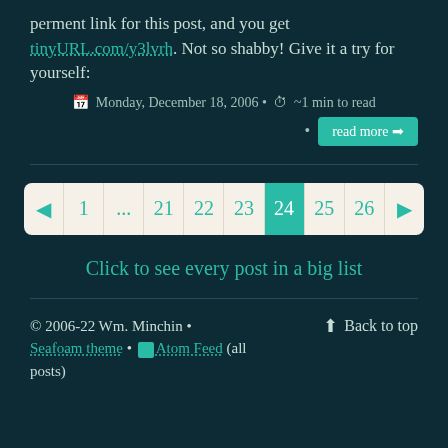perment link for this post, and you get tinyURL.com/y3lvrh. Not so shabby! Give it a try for yourself:
Monday, December 18, 2006 • ~1 min to read
read more
[Figure (other): Pagination bar with page numbers: back arrow, 1, ..., 21, 22, 23, 24 (active/highlighted), 25, 26, forward arrow]
Click to see every post in a big list
© 2006-22 Wm. Minchin • Seafoam theme • Atom Feed (all posts) Back to top